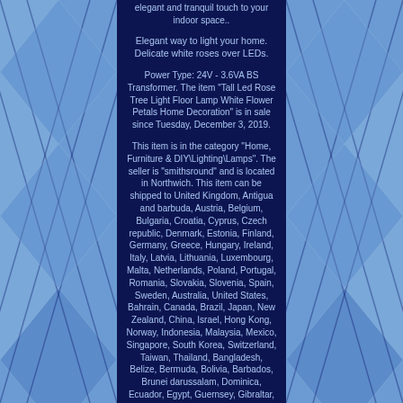elegant and tranquil touch to your indoor space..
Elegant way to light your home. Delicate white roses over LEDs.
Power Type: 24V - 3.6VA BS Transformer. The item "Tall Led Rose Tree Light Floor Lamp White Flower Petals Home Decoration" is in sale since Tuesday, December 3, 2019.
This item is in the category "Home, Furniture & DIY\Lighting\Lamps". The seller is "smithsround" and is located in Northwich. This item can be shipped to United Kingdom, Antigua and barbuda, Austria, Belgium, Bulgaria, Croatia, Cyprus, Czech republic, Denmark, Estonia, Finland, Germany, Greece, Hungary, Ireland, Italy, Latvia, Lithuania, Luxembourg, Malta, Netherlands, Poland, Portugal, Romania, Slovakia, Slovenia, Spain, Sweden, Australia, United States, Bahrain, Canada, Brazil, Japan, New Zealand, China, Israel, Hong Kong, Norway, Indonesia, Malaysia, Mexico, Singapore, South Korea, Switzerland, Taiwan, Thailand, Bangladesh, Belize, Bermuda, Bolivia, Barbados, Brunei darussalam, Dominica, Ecuador, Egypt, Guernsey, Gibraltar, Guadeloupe, Grenada, French guiana, Iceland, Jersey,